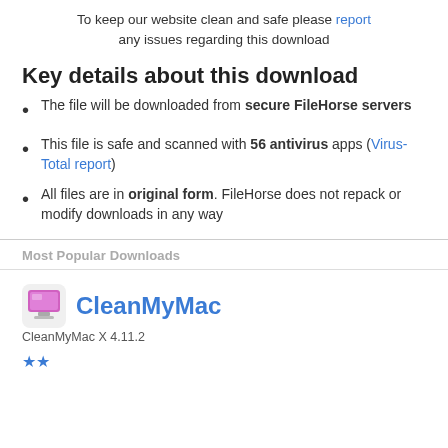To keep our website clean and safe please report any issues regarding this download
Key details about this download
The file will be downloaded from secure FileHorse servers
This file is safe and scanned with 56 antivirus apps (Virus-Total report)
All files are in original form. FileHorse does not repack or modify downloads in any way
Most Popular Downloads
CleanMyMac
CleanMyMac X 4.11.2